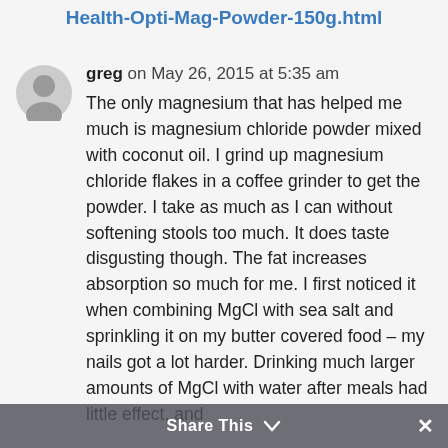Health-Opti-Mag-Powder-150g.html
greg on May 26, 2015 at 5:35 am
The only magnesium that has helped me much is magnesium chloride powder mixed with coconut oil. I grind up magnesium chloride flakes in a coffee grinder to get the powder. I take as much as I can without softening stools too much. It does taste disgusting though. The fat increases absorption so much for me. I first noticed it when combining MgCl with sea salt and sprinkling it on my butter covered food – my nails got a lot harder. Drinking much larger amounts of MgCl with water after meals had little effect, and
Share This